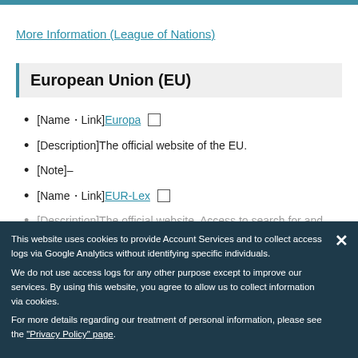More Information (League of Nations)
European Union (EU)
[Name・Link] Europa [external link icon]
[Description]The official website of the EU.
[Note]–
[Name・Link] EUR-Lex [external link icon]
[Description]The official website for access...
[Note]–
This website uses cookies to provide Account Services and to collect access logs via Google Analytics without identifying specific individuals. We do not use access logs for any other purpose except to improve our services. By using this website, you agree to allow us to collect information via cookies. For more details regarding our treatment of personal information, please see the "Privacy Policy" page.